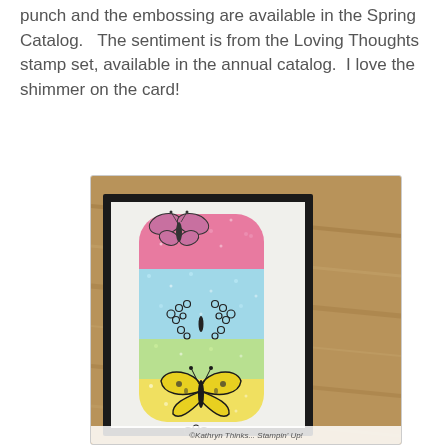punch and the embossing are available in the Spring Catalog.   The sentiment is from the Loving Thoughts stamp set, available in the annual catalog.  I love the shimmer on the card!
[Figure (photo): A photo of a handmade greeting card with a vertical shimmer/glitter strip showing gradient colors from pink at top, to light blue/teal in the middle, to yellow-green and yellow at the bottom. Stamped on the strip are butterflies: a pink/purple butterfly at the top, a floral/daisy butterfly design in the middle, and a large yellow butterfly at the bottom. The card has a black border frame. The background behind the card shows a wood-grain surface.]
©Kathryn Thinks... Stampin' Up!